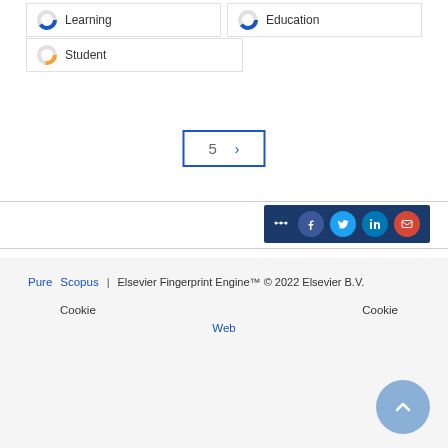Learning
Education
Student
5
[Figure (screenshot): Share buttons for Facebook, Twitter, LinkedIn, and Email on a dark blue background]
Pure  Scopus  Elsevier Fingerprint Engine™ © 2022 Elsevier B.V.  Cookie  Cookie  Web